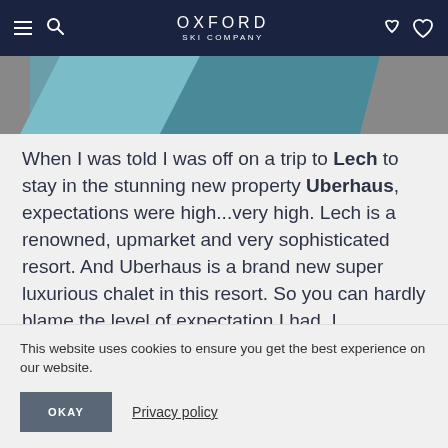OXFORD SKI COMPANY
[Figure (photo): Partial view of a ski-related image with teal/turquoise and grey tones, likely ski equipment or mountain scenery]
When I was told I was off on a trip to Lech to stay in the stunning new property Uberhaus, expectations were high...very high. Lech is a renowned, upmarket and very sophisticated resort. And Uberhaus is a brand new super luxurious chalet in this resort. So you can hardly blame the level of expectation I had. I potentially could have been setting myself up for a fall here, but I am
This website uses cookies to ensure you get the best experience on our website.
OKAY
Privacy policy